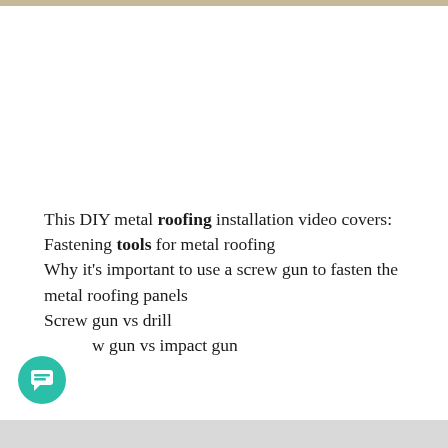This DIY metal roofing installation video covers: Fastening tools for metal roofing Why it's important to use a screw gun to fasten the metal roofing panels Screw gun vs drill Screw gun vs impact gun